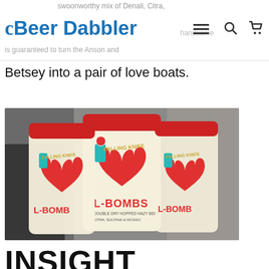swoonworthy mix of Denali, Citra, | Beer Dabbler | handsome | is guaranteed to turn the Anson and
Betsey into a pair of love boats.
[Figure (photo): Three tall cans of 'Falling Knife L-Bombs' dry hopped hazy beer with Citra, Sultana & Mosaic hops, featuring colorful retro label artwork with a heart motif, stacked together in a brewery setting.]
INSIGHT